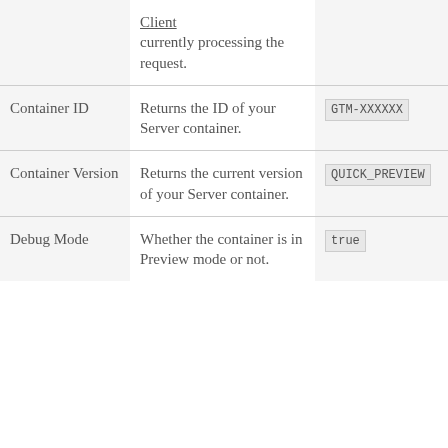| Property | Description | Example |
| --- | --- | --- |
| Client | currently processing the request. |  |
| Container ID | Returns the ID of your Server container. | GTM-XXXXXX |
| Container Version | Returns the current version of your Server container. | QUICK_PREVIEW |
| Debug Mode | Whether the container is in Preview mode or not. | true |